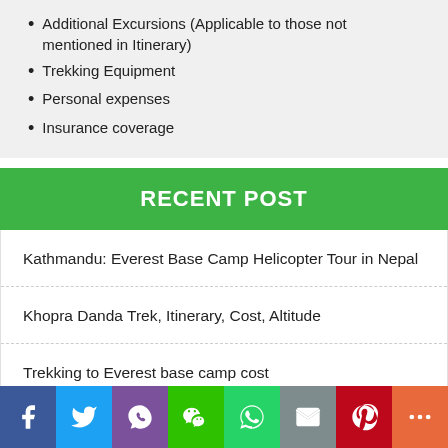Additional Excursions (Applicable to those not mentioned in Itinerary)
Trekking Equipment
Personal expenses
Insurance coverage
RECENT POST
Kathmandu: Everest Base Camp Helicopter Tour in Nepal
Khopra Danda Trek, Itinerary, Cost, Altitude
Trekking to Everest base camp cost
How Much Does Everest Base Camp Trek Cost in monsoon